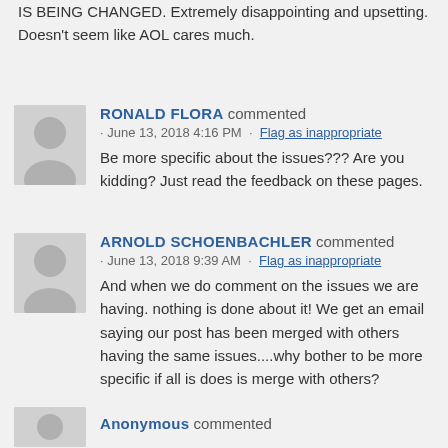IS BEING CHANGED. Extremely disappointing and upsetting. Doesn't seem like AOL cares much.
RONALD FLORA commented · June 13, 2018 4:16 PM · Flag as inappropriate
Be more specific about the issues??? Are you kidding? Just read the feedback on these pages.
ARNOLD SCHOENBACHLER commented · June 13, 2018 9:39 AM · Flag as inappropriate
And when we do comment on the issues we are having. nothing is done about it! We get an email saying our post has been merged with others having the same issues....why bother to be more specific if all is does is merge with others?
Anonymous commented